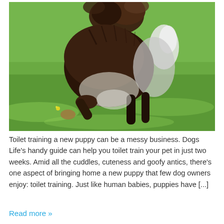[Figure (photo): A fluffy long-haired dog seen from behind, standing on green grass with one hind leg raised, showing its thick brown and white fur and bushy tail.]
Toilet training a new puppy can be a messy business. Dogs Life's handy guide can help you toilet train your pet in just two weeks. Amid all the cuddles, cuteness and goofy antics, there's one aspect of bringing home a new puppy that few dog owners enjoy: toilet training. Just like human babies, puppies have [...]
Read more »